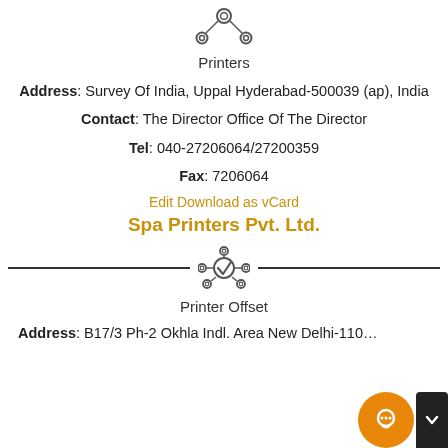[Figure (illustration): Network/printer icon at top]
Printers
Address: Survey Of India, Uppal Hyderabad-500039 (ap), India
Contact: The Director Office Of The Director
Tel: 040-27206064/27200359
Fax: 7206064
Edit Download as vCard
Spa Printers Pvt. Ltd.
[Figure (illustration): Network/verified icon divider]
Printer Offset
Address: B17/3 Ph-2 Okhla Indl. Area New Delhi-110